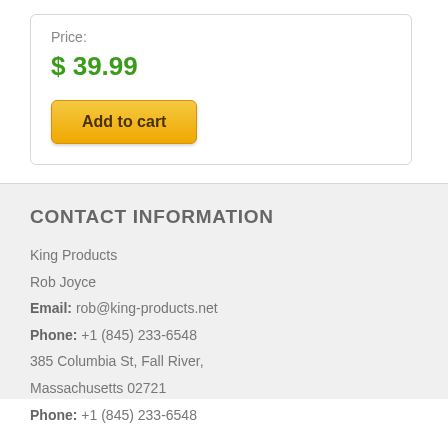Price:
$ 39.99
Add to cart
CONTACT INFORMATION
King Products
Rob Joyce
Email: rob@king-products.net
Phone: +1 (845) 233-6548
385 Columbia St, Fall River,
Massachusetts 02721
Phone: +1 (845) 233-6548